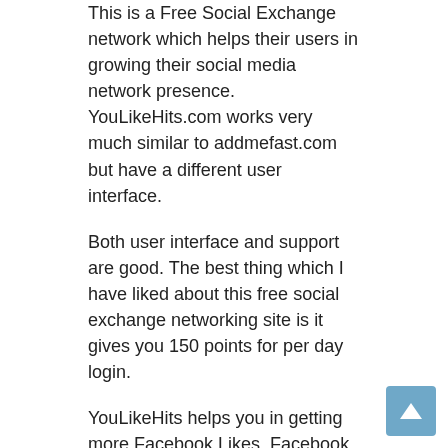This is a Free Social Exchange network which helps their users in growing their social media network presence. YouLikeHits.com works very much similar to addmefast.com but have a different user interface.
Both user interface and support are good. The best thing which I have liked about this free social exchange networking site is it gives you 150 points for per day login.
YouLikeHits helps you in getting more Facebook Likes, Facebook Shares, Facebook Comments, Twitter Followers, Google+ Circles, StumbleUpon Followers, Pinterest followers, Soundcloud Listens, Google+ shares, Youtube Subscribers and much more.
2. Like4Like.org
I personally love this great social media exchange site. Like4Like.org is the best alternative for addmefast because of their great team support.